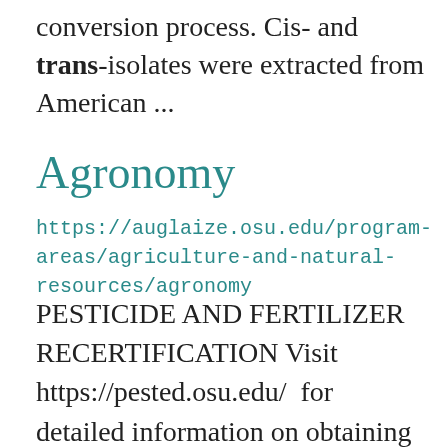conversion process. Cis- and trans-isolates were extracted from American ...
Agronomy
https://auglaize.osu.edu/program-areas/agriculture-and-natural-resources/agronomy
PESTICIDE AND FERTILIZER RECERTIFICATION Visit https://pested.osu.edu/  for detailed information on obtaining or recertifying your pesticide and fertilizer licenses. We will be hosting a recertification class in Auglaize County on March 10, 2022. For mor ...